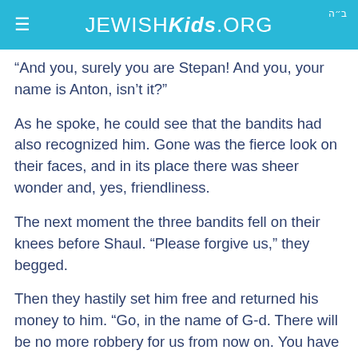JEWISH Kids .ORG
“And you, surely you are Stepan! And you, your name is Anton, isn’t it?”
As he spoke, he could see that the bandits had also recognized him. Gone was the fierce look on their faces, and in its place there was sheer wonder and, yes, friendliness.
The next moment the three bandits fell on their knees before Shaul. “Please forgive us,” they begged.
Then they hastily set him free and returned his money to him. “Go, in the name of G-d. There will be no more robbery for us from now on. You have made us different people.”